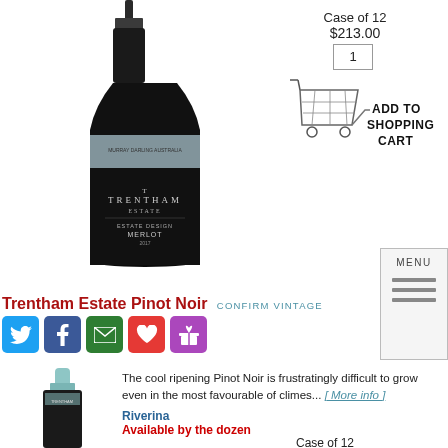[Figure (photo): Trentham Estate wine bottle (Merlot) with dark label featuring tree silhouette]
Case of 12
$213.00
1
[Figure (illustration): Shopping cart illustration with ADD TO SHOPPING CART text]
[Figure (other): MENU navigation button with three horizontal lines]
Trentham Estate Pinot Noir CONFIRM VINTAGE
[Figure (other): Social media icons: Twitter, Facebook, Email, Heart/Wishlist, Gift]
[Figure (photo): Trentham Estate Pinot Noir wine bottle with light blue capsule]
The cool ripening Pinot Noir is frustratingly difficult to grow even in the most favourable of climes... [ More info ]
Riverina
Available by the dozen
Case of 12
$215.00